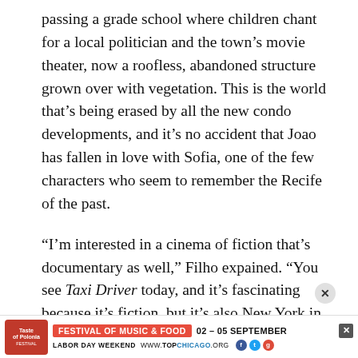passing a grade school where children chant for a local politician and the town's movie theater, now a roofless, abandoned structure grown over with vegetation. This is the world that's being erased by all the new condo developments, and it's no accident that Joao has fallen in love with Sofia, one of the few characters who seem to remember the Recife of the past.
“I’m interested in a cinema of fiction that’s documentary as well,” Filho expained. “You see Taxi Driver today, and it’s fascinating because it’s fiction, but it’s also New York in 1975.” His remark shows how clearly he understands the importance of location in storytelling, though of course the cost of location
[Figure (other): Advertisement banner for Taste of Polonia Festival of Music & Food, 02-05 September, Labor Day Weekend, www.topchicago.org]